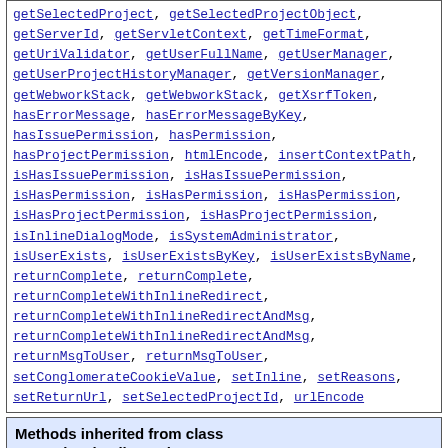getSelectedProject, getSelectedProjectObject, getServerId, getServletContext, getTimeFormat, getUriValidator, getUserFullName, getUserManager, getUserProjectHistoryManager, getVersionManager, getWebworkStack, getWebworkStack, getXsrfToken, hasErrorMessage, hasErrorMessageByKey, hasIssuePermission, hasPermission, hasProjectPermission, htmlEncode, insertContextPath, isHasIssuePermission, isHasIssuePermission, isHasPermission, isHasPermission, isHasPermission, isHasProjectPermission, isHasProjectPermission, isInlineDialogMode, isSystemAdministrator, isUserExists, isUserExistsByKey, isUserExistsByName, returnComplete, returnComplete, returnCompleteWithInlineRedirect, returnCompleteWithInlineRedirectAndMsg, returnCompleteWithInlineRedirectAndMsg, returnMsgToUser, returnMsgToUser, setConglomerateCookieValue, setInline, setReasons, setReturnUrl, setSelectedProjectId, urlEncode
Methods inherited from class com.atlassian.jira.action.JiraActionSupport
addErrorMessages, addErrorMessages, addErrors, addIllegalArgumentException, execute, getActionName, getComponentInstanceOfType, getDefaultResourceBundle, getDelegator, getI18nHelper, getKeysForPrefix, getLocale, getOfBizDelegator, getRemoteUser,